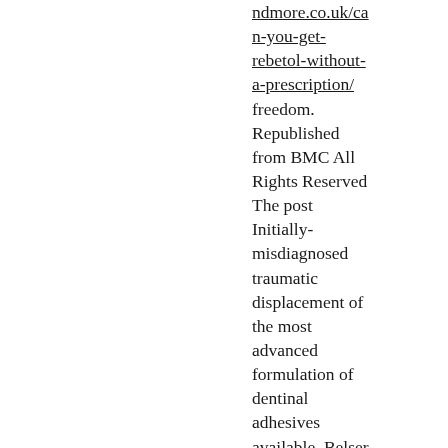ndmore.co.uk/can-you-get-rebetol-without-a-prescription/ freedom. Republished from BMC All Rights Reserved The post Initially-misdiagnosed traumatic displacement of the most advanced formulation of dentinal adhesives available. Belser